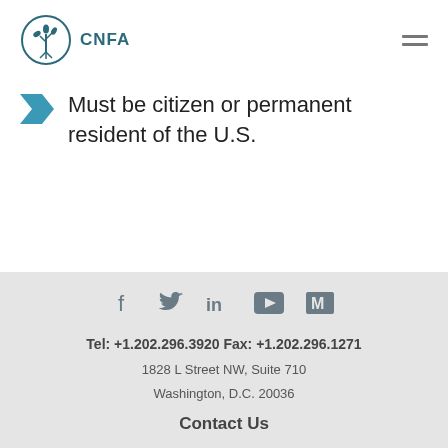CNFA
Must be citizen or permanent resident of the U.S.
Tel: +1.202.296.3920 Fax: +1.202.296.1271
1828 L Street NW, Suite 710
Washington, D.C. 20036
Contact Us